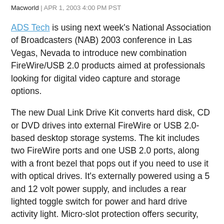Macworld | APR 1, 2003 4:00 PM PST
ADS Tech is using next week's National Association of Broadcasters (NAB) 2003 conference in Las Vegas, Nevada to introduce new combination FireWire/USB 2.0 products aimed at professionals looking for digital video capture and storage options.
The new Dual Link Drive Kit converts hard disk, CD or DVD drives into external FireWire or USB 2.0-based desktop storage systems. The kit includes two FireWire ports and one USB 2.0 ports, along with a front bezel that pops out if you need to use it with optical drives. It's externally powered using a 5 and 12 volt power supply, and includes a rear lighted toggle switch for power and hard drive activity light. Micro-slot protection offers security,